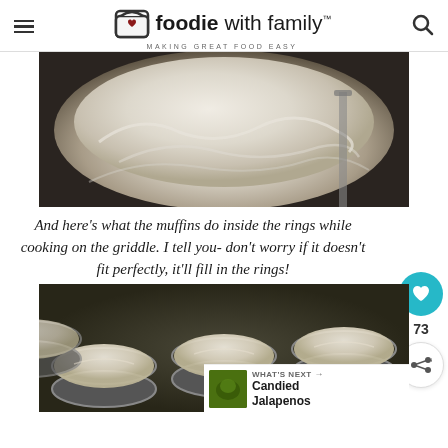foodie with family — MAKING GREAT FOOD EASY
[Figure (photo): Close-up of bread dough inside a large metal mixing bowl, showing the stretched and folded dough surface]
And here's what the muffins do inside the rings while cooking on the griddle. I tell you- don't worry if it doesn't fit perfectly, it'll fill in the rings!
[Figure (photo): English muffins rising inside metal rings on a dark griddle surface, showing puffy round dough portions in circular molds]